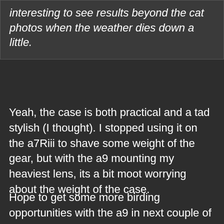interesting to see results beyond the cat photos when the weather dies down a little.
Yeah, the case is both practical and a tad stylish (I thought). I stopped using it on the a7Riii to shave some weight of the gear, but with the a9 mounting my heaviest lens, its a bit moot worrying about the weight of the case.
Hope to get some more birding opportunities with the a9 in next couple of weeks.